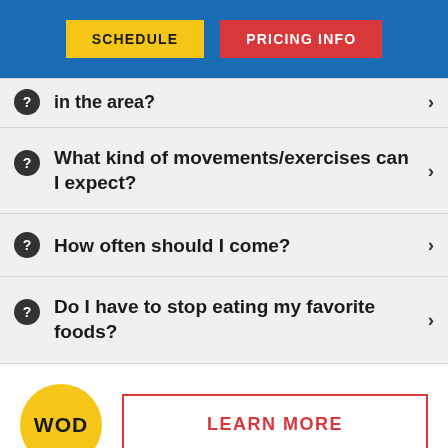SCHEDULE | PRICING INFO
in the area?
What kind of movements/exercises can I expect?
How often should I come?
Do I have to stop eating my favorite foods?
[Figure (logo): WOD circular logo in yellow]
LEARN MORE